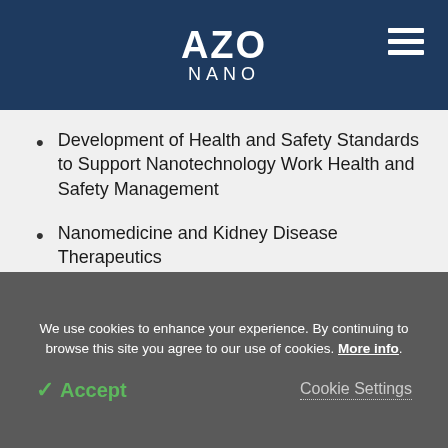AZO NANO
Development of Health and Safety Standards to Support Nanotechnology Work Health and Safety Management
Nanomedicine and Kidney Disease Therapeutics
European Health Technology Clusters Launch Health Axis Europe at Regional Development Summit
We use cookies to enhance your experience. By continuing to browse this site you agree to our use of cookies. More info.
✓ Accept
Cookie Settings